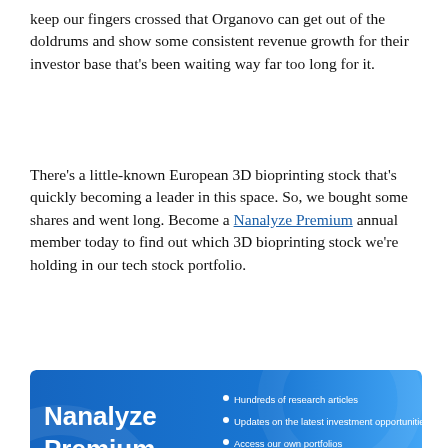keep our fingers crossed that Organovo can get out of the doldrums and show some consistent revenue growth for their investor base that's been waiting way far too long for it.
There's a little-known European 3D bioprinting stock that's quickly becoming a leader in this space. So, we bought some shares and went long. Become a Nanalyze Premium annual member today to find out which 3D bioprinting stock we're holding in our tech stock portfolio.
[Figure (infographic): Nanalyze Premium advertisement banner with dark blue gradient background. Left side shows 'Nanalyze Premium' in large white bold text with a horizontal white line below, then 'YOUR ONE-STOP-SHOP FOR INVESTING IN DISRUPTIVE TECHNOLOGIES' in small white caps. Right side bullet list: Hundreds of research articles, Updates on the latest investment opportunities, Access our own portfolios, Bonus tools & discount for annual subscribers. Bottom right has a white pill-shaped 'SUBSCRIBE TODAY! >' button.]